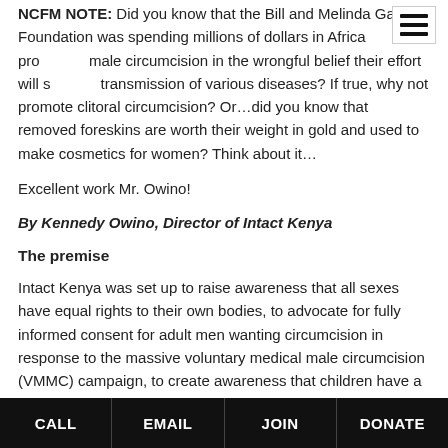NCFM NOTE: Did you know that the Bill and Melinda Gates Foundation was spending millions of dollars in Africa promoting male circumcision in the wrongful belief their effort will stop the transmission of various diseases? If true, why not promote clitoral circumcision? Or…did you know that removed foreskins are worth their weight in gold and used to make cosmetics for women? Think about it…
Excellent work Mr. Owino!
By Kennedy Owino, Director of Intact Kenya
The premise
Intact Kenya was set up to raise awareness that all sexes have equal rights to their own bodies, to advocate for fully informed consent for adult men wanting circumcision in response to the massive voluntary medical male circumcision (VMMC) campaign, to create awareness that children have a basic right to reach
CALL | EMAIL | JOIN | DONATE